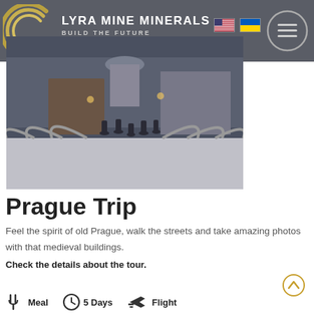LYRA MINE MINERALS — BUILD THE FUTURE
[Figure (photo): People walking on a bridge toward a large domed cathedral building in a European city, dark moody urban atmosphere]
Prague Trip
Feel the spirit of old Prague, walk the streets and take amazing photos with that medieval buildings.
Check the details about the tour.
Meal   5 Days   Flight